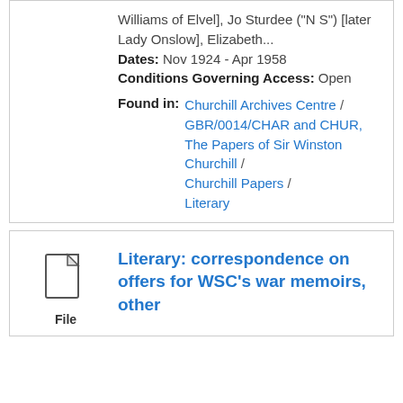Williams of Elvel], Jo Sturdee ("N S") [later Lady Onslow], Elizabeth... Dates: Nov 1924 - Apr 1958 Conditions Governing Access: Open
Found in: Churchill Archives Centre / GBR/0014/CHAR and CHUR, The Papers of Sir Winston Churchill / Churchill Papers / Literary
[Figure (illustration): File icon - document page outline icon with folded corner]
File
Literary: correspondence on offers for WSC's war memoirs, other